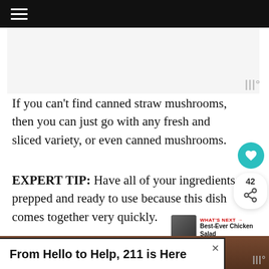[Figure (other): Light gray advertisement placeholder area]
If you can't find canned straw mushrooms, then you can just go with any fresh and sliced variety, or even canned mushrooms.
EXPERT TIP: Have all of your ingredients prepped and ready to use because this dish comes together very quickly.
[Figure (other): Share panel showing 42 shares and share icon button]
[Figure (other): What's Next promo: Best-Ever Chicken Salad]
[Figure (photo): Food photo showing dish with red ingredients]
From Hello to Help, 211 is Here